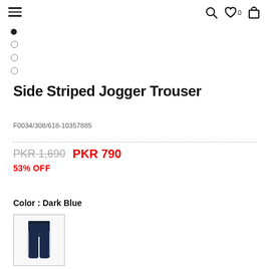Navigation header with hamburger menu, search, wishlist (0), and cart icons
Side Striped Jogger Trouser
F0034/308/618-10357885
PKR 1,690  PKR 790
53% OFF
Color : Dark Blue
[Figure (photo): Dark blue side striped jogger trouser color swatch thumbnail]